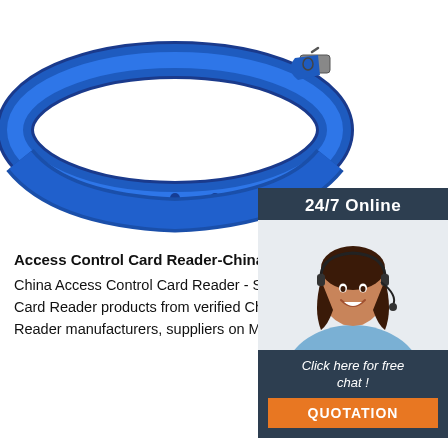[Figure (photo): Blue silicone wristband/bracelet with metal clasp, product photo on white background]
[Figure (infographic): 24/7 Online customer support widget with female agent wearing headset, 'Click here for free chat!' text and orange QUOTATION button]
Access Control Card Reader-China Access Control
China Access Control Card Reader - Select 2021 Access Control Card Reader products from verified China Access Control Card Reader manufacturers, suppliers on Made-in-China.
[Figure (other): Orange 'Get Price' button]
[Figure (other): TOP icon with upward arrow dots and red/orange TOP text]